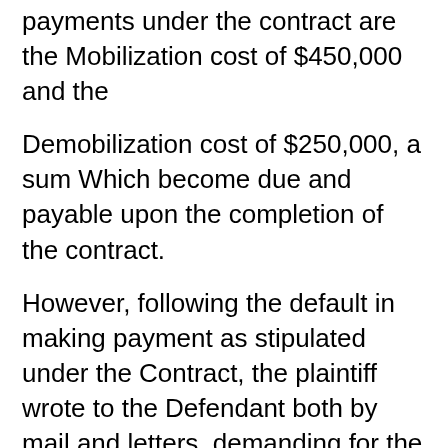payments under the contract are the Mobilization cost of $450,000 and the
Demobilization cost of $250,000, a sum Which become due and payable upon the completion of the contract.
However, following the default in making payment as stipulated under the Contract, the plaintiff wrote to the Defendant both by mail and letters, demanding for the payment of the outstanding and approved invoices and that the Defendant wrote replies raising issues and points that are completely alien to the Contract as its reason for not making the payment.